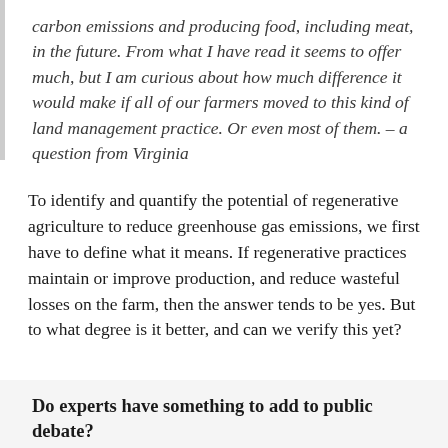carbon emissions and producing food, including meat, in the future. From what I have read it seems to offer much, but I am curious about how much difference it would make if all of our farmers moved to this kind of land management practice. Or even most of them. – a question from Virginia
To identify and quantify the potential of regenerative agriculture to reduce greenhouse gas emissions, we first have to define what it means. If regenerative practices maintain or improve production, and reduce wasteful losses on the farm, then the answer tends to be yes. But to what degree is it better, and can we verify this yet?
Do experts have something to add to public debate?